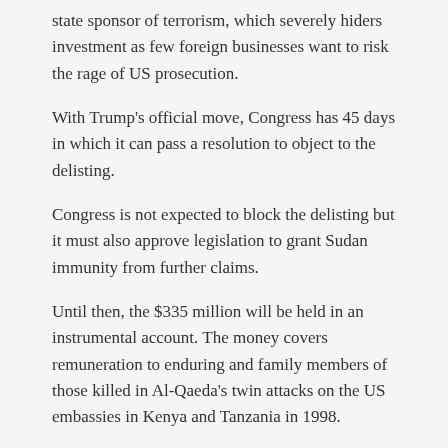state sponsor of terrorism, which severely hiders investment as few foreign businesses want to risk the rage of US prosecution.
With Trump's official move, Congress has 45 days in which it can pass a resolution to object to the delisting.
Congress is not expected to block the delisting but it must also approve legislation to grant Sudan immunity from further claims.
Until then, the $335 million will be held in an instrumental account. The money covers remuneration to enduring and family members of those killed in Al-Qaeda's twin attacks on the US embassies in Kenya and Tanzania in 1998.